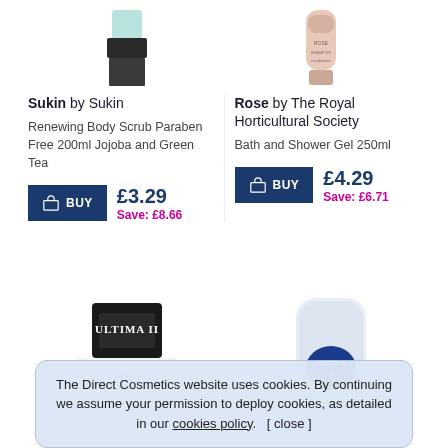[Figure (photo): Sukin Renewing Body Scrub product image (partial, top of container visible)]
[Figure (photo): Rose by The Royal Horticultural Society Bath and Shower Gel product image (partial)]
Sukin by Sukin
Renewing Body Scrub Paraben Free 200ml Jojoba and Green Tea
Rose by The Royal Horticultural Society
Bath and Shower Gel 250ml
BUY £3.29 Save: £8.66
BUY £4.29 Save: £6.71
[Figure (photo): Ultima II Interlude product image (partial, bottom half of page)]
[Figure (photo): Vaseline product image (partial, bottom half of page)]
The Direct Cosmetics website uses cookies. By continuing we assume your permission to deploy cookies, as detailed in our cookies policy.    [ close ]